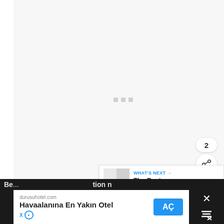[Figure (screenshot): Loading screen with light gray background and three small gray squares in the center]
[Figure (infographic): Blue circular heart/like button with count 2 and white share button with plus icon]
[Figure (screenshot): What's Next panel showing thumbnail and title 'The Best Backsplash...' with arrow]
WHAT'S NEXT → The Best Backsplash...
2
durusuhotel.com Havaalanına En Yakın Otel AÇ